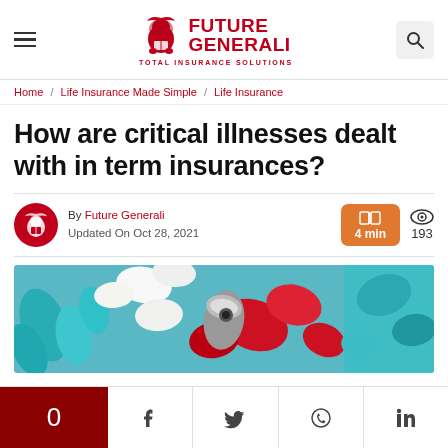Future Generali Total Insurance Solutions
Home / Life Insurance Made Simple / Life Insurance
How are critical illnesses dealt with in term insurances?
By Future Generali Updated On Oct 28, 2021 | 4 min | 193 views
[Figure (photo): Close-up photo of medical vials and capsules in red, teal, and white colors]
0 | Share on Facebook | Share on Twitter | Share on WhatsApp | Share on LinkedIn